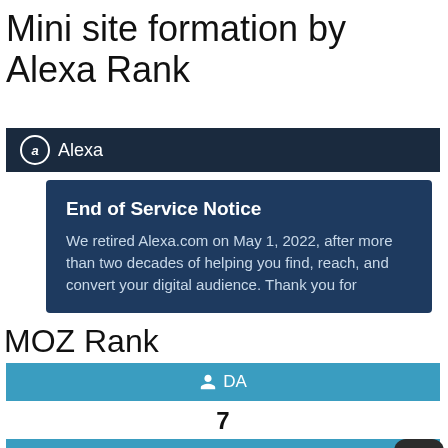Mini site formation by Alexa Rank
[Figure (screenshot): Alexa.com header bar with Alexa logo and end of service notice popup. Header is dark navy blue with Alexa logo (circled a) and 'Alexa' text. Below is a dark blue notice box titled 'End of Service Notice' stating: 'We retired Alexa.com on May 1, 2022, after more than two decades of helping you find, reach, and convert your digital audience. Thank you for']
MOZ Rank
[Figure (screenshot): MOZ DA bar — teal/blue bar with person icon and 'DA' label. Value shown is 7. Below is another teal bar with person icon and 'PA' label. A dark rounded scroll-to-top button is in the bottom right corner.]